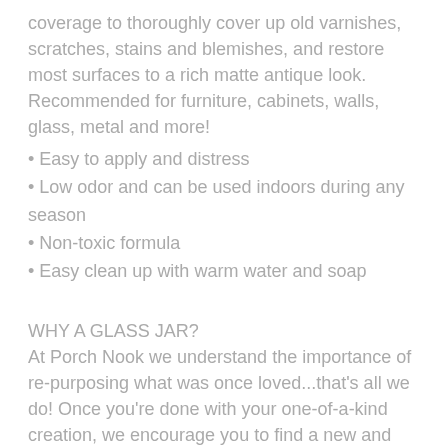coverage to thoroughly cover up old varnishes, scratches, stains and blemishes, and restore most surfaces to a rich matte antique look. Recommended for furniture, cabinets, walls, glass, metal and more!
Easy to apply and distress
Low odor and can be used indoors during any season
Non-toxic formula
Easy clean up with warm water and soap
WHY A GLASS JAR?
At Porch Nook we understand the importance of re-purposing what was once loved...that's all we do! Once you're done with your one-of-a-kind creation, we encourage you to find a new and creative purpose for this handy glass jar.
32 fl. oz. coverage: Up to 64 sq. ft.
DIRECTIONS FOR USE:
Clean, prep and dry the surface to be painted.